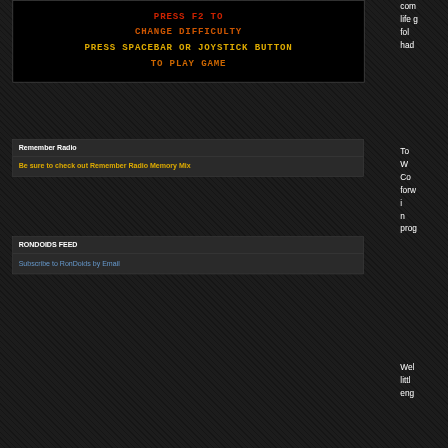[Figure (screenshot): Game screen with dark background showing text instructions in red, orange, and yellow monospace font: 'PRESS F2 TO CHANGE DIFFICULTY PRESS SPACEBAR OR JOYSTICK BUTTON TO PLAY GAME']
Remember Radio
Be sure to check out Remember Radio Memory Mix
RONDOIDS FEED
Subscribe to RonDoids by Email
com life g fol had
To W Co forw i n prog
Wel littl eng